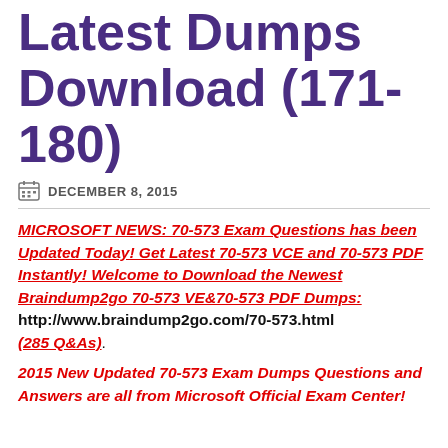Latest Dumps Download (171-180)
DECEMBER 8, 2015
MICROSOFT NEWS: 70-573 Exam Questions has been Updated Today! Get Latest 70-573 VCE and 70-573 PDF Instantly! Welcome to Download the Newest Braindump2go 70-573 VE&70-573 PDF Dumps: http://www.braindump2go.com/70-573.html (285 Q&As)
2015 New Updated 70-573 Exam Dumps Questions and Answers are all from Microsoft Official Exam Center!